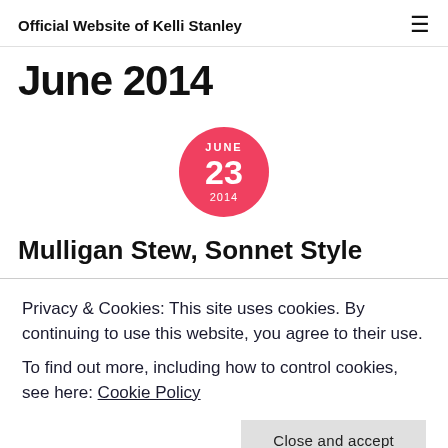Official Website of Kelli Stanley
June 2014
[Figure (other): Pink/red circular date badge showing JUNE 23 2014]
Mulligan Stew, Sonnet Style
Privacy & Cookies: This site uses cookies. By continuing to use this website, you agree to their use.
To find out more, including how to control cookies, see here: Cookie Policy
always writing — even when you're not at a